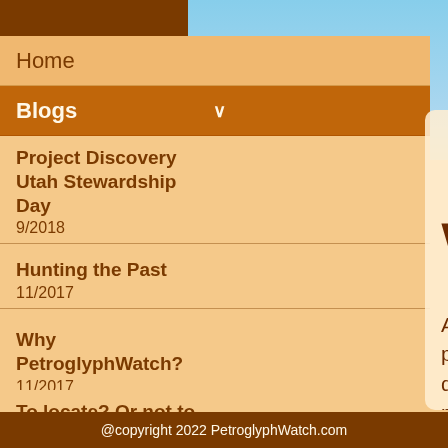Home
Blogs
Project Discovery Utah Stewardship Day
9/2018
Hunting the Past
11/2017
Why PetroglyphWatch?
11/2017
To locate? Or not to locate?
11/2017
Petroglyph Watch
A site dedicated to preserving and documenting petroglyphs,
@copyright 2022 PetroglyphWatch.com